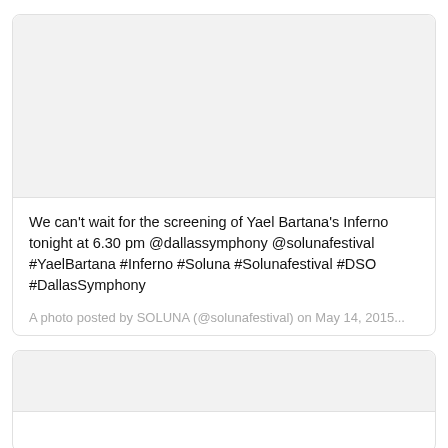[Figure (photo): Light gray placeholder area at the top of a social media post card]
We can't wait for the screening of Yael Bartana's Inferno tonight at 6.30 pm @dallassymphony @solunafestival #YaelBartana #Inferno #Soluna #Solunafestival #DSO #DallasSymphony
A photo posted by SOLUNA (@solunafestival) on May 14, 2015...
[Figure (photo): Second social media post card, partially visible, with light gray placeholder image area]